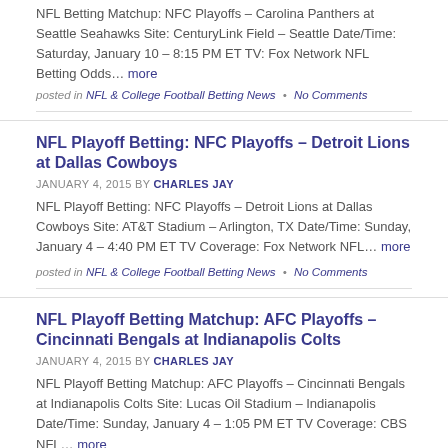NFL Betting Matchup: NFC Playoffs – Carolina Panthers at Seattle Seahawks Site: CenturyLink Field – Seattle Date/Time: Saturday, January 10 – 8:15 PM ET TV: Fox Network NFL Betting Odds…more
posted in NFL & College Football Betting News • No Comments
NFL Playoff Betting: NFC Playoffs – Detroit Lions at Dallas Cowboys
JANUARY 4, 2015 BY CHARLES JAY
NFL Playoff Betting: NFC Playoffs – Detroit Lions at Dallas Cowboys Site: AT&T Stadium – Arlington, TX Date/Time: Sunday, January 4 – 4:40 PM ET TV Coverage: Fox Network NFL… more
posted in NFL & College Football Betting News • No Comments
NFL Playoff Betting Matchup: AFC Playoffs – Cincinnati Bengals at Indianapolis Colts
JANUARY 4, 2015 BY CHARLES JAY
NFL Playoff Betting Matchup: AFC Playoffs – Cincinnati Bengals at Indianapolis Colts Site: Lucas Oil Stadium – Indianapolis Date/Time: Sunday, January 4 – 1:05 PM ET TV Coverage: CBS NFL… more
posted in NFL & College Football Betting News • No Comments